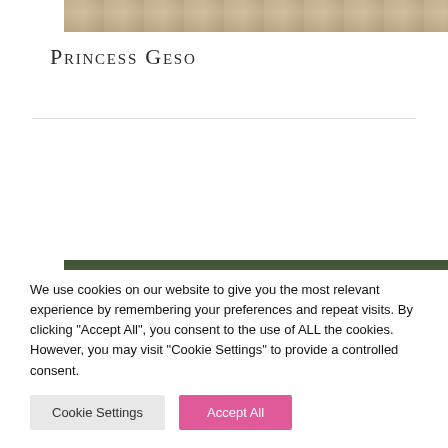[Figure (photo): Partial view of a photo at the top of the page, showing what appears to be a textured surface or fabric.]
Princess Geso
[Figure (photo): Photo of a greenhouse or conservatory interior with pampas grass or dried floral arrangement in the foreground and green plants in the background.]
We use cookies on our website to give you the most relevant experience by remembering your preferences and repeat visits. By clicking "Accept All", you consent to the use of ALL the cookies. However, you may visit "Cookie Settings" to provide a controlled consent.
Cookie Settings
Accept All